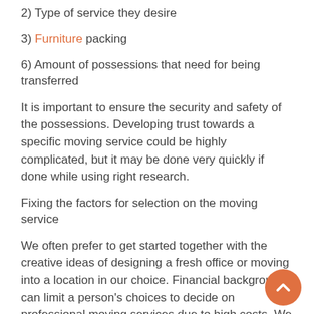2) Type of service they desire
3) Furniture packing
6) Amount of possessions that need for being transferred
It is important to ensure the security and safety of the possessions. Developing trust towards a specific moving service could be highly complicated, but it may be done very quickly if done while using right research.
Fixing the factors for selection on the moving service
We often prefer to get started together with the creative ideas of designing a fresh office or moving into a location in our choice. Financial backgrounds can limit a person's choices to decide on professional moving services due to high costs. We might get confused while using availability of services available from the moving companies. Man and Van London services could possibly be highly good for the customers that could provide them the needed vehicle customized depending on their demands, and they also can